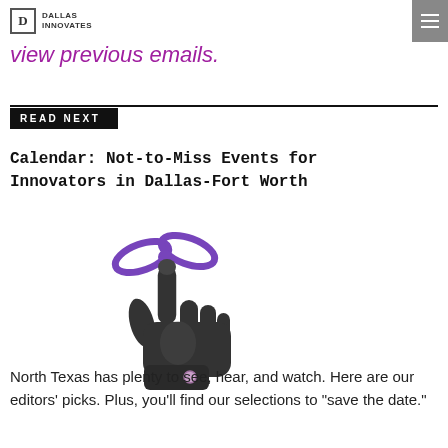DALLAS INNOVATES
view previous emails.
READ NEXT
Calendar: Not-to-Miss Events for Innovators in Dallas-Fort Worth
[Figure (illustration): Icon of a pointing hand/finger cursor with a purple ribbon bow tied around the index finger, representing a reminder or calendar event.]
North Texas has plenty to see, hear, and watch. Here are our editors' picks. Plus, you'll find our selections to "save the date."